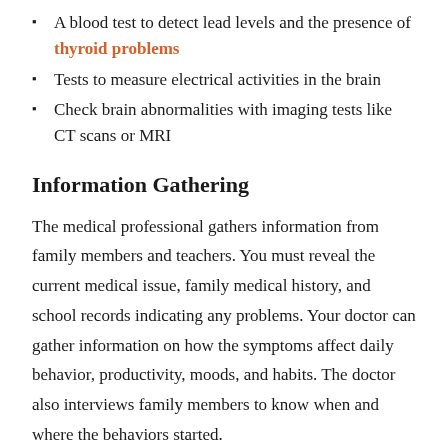A blood test to detect lead levels and the presence of thyroid problems
Tests to measure electrical activities in the brain
Check brain abnormalities with imaging tests like CT scans or MRI
Information Gathering
The medical professional gathers information from family members and teachers. You must reveal the current medical issue, family medical history, and school records indicating any problems. Your doctor can gather information on how the symptoms affect daily behavior, productivity, moods, and habits. The doctor also interviews family members to know when and where the behaviors started.
Rating Scales